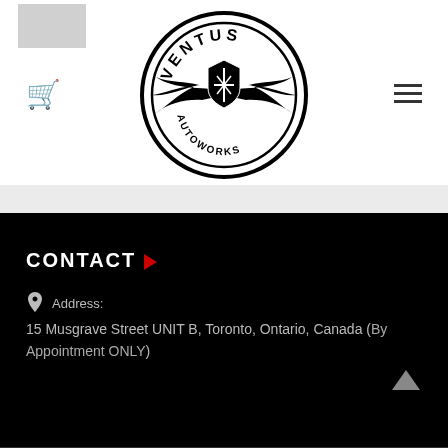[Figure (logo): Ventus Autoworks circular logo with wings and shield emblem, black and white]
CONTACT
Address: 15 Musgrave Street UNIT B, Toronto, Ontario, Canada (By Appointment ONLY)